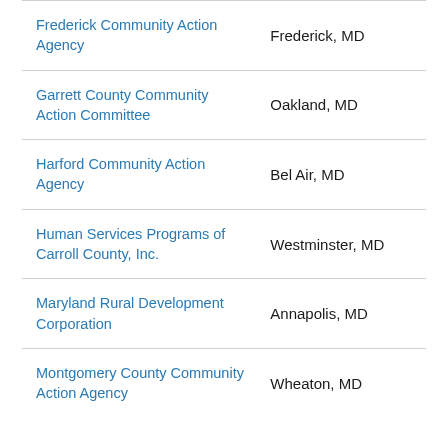| Organization | Location |
| --- | --- |
| Frederick Community Action Agency | Frederick, MD |
| Garrett County Community Action Committee | Oakland, MD |
| Harford Community Action Agency | Bel Air, MD |
| Human Services Programs of Carroll County, Inc. | Westminster, MD |
| Maryland Rural Development Corporation | Annapolis, MD |
| Montgomery County Community Action Agency | Wheaton, MD |